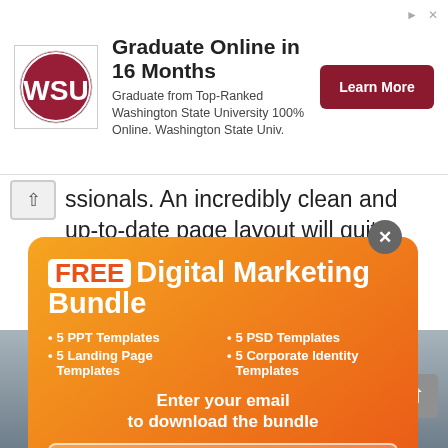[Figure (infographic): Advertisement banner for Washington State University online graduate program. Logo of WSU on left, headline 'Graduate Online in 16 Months', subtext 'Graduate from Top-Ranked Washington State University 100% Online. Washington State Univ.', and a dark red 'Learn More' button. Small arrow/close icons at top right.]
ssionals. An incredibly clean and up-to-date page layout will quite easily engage recruiters and p... concise layout s... n focused on the d... also features a f... design similar to t...
[Figure (infographic): Popup advertisement for FREE Digital Marketing Bundle with orange-to-red gradient background. Contains headline 'FREE Digital Marketing Bundle', bullet list: 5 PPT Templates, 5 Landing Page Templates, 5 PSD Templates, 5 Corporate Identity Templates, CTA text 'Enter your email to download the bundle', an email input field, and a 'Get Bundle' button.]